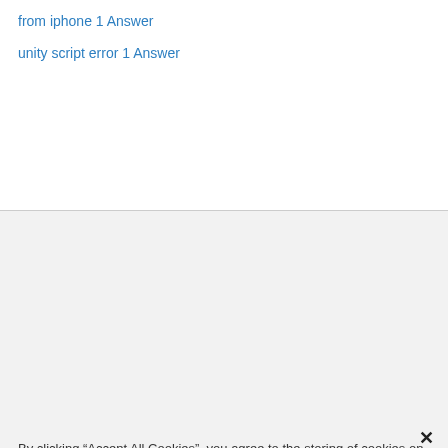from iphone 1 Answer
unity script error 1 Answer
By clicking “Accept All Cookies”, you agree to the storing of cookies on your device to enhance site navigation, analyze site usage, and assist in our marketing efforts.
Cookies Settings
Accept All Cookies